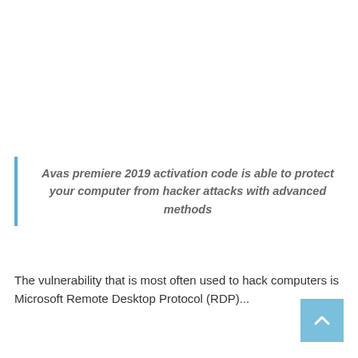Avas premiere 2019 activation code is able to protect your computer from hacker attacks with advanced methods
The vulnerability that is most often used to hack computers is Microsoft Remote Desktop Protocol (RDP)...